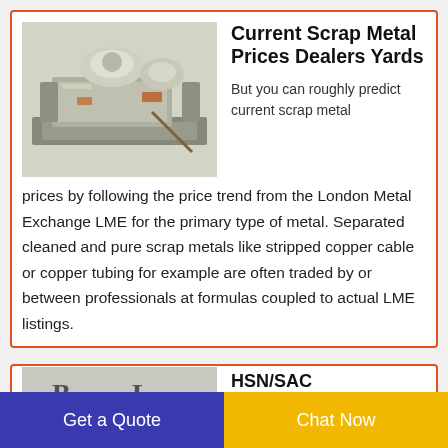[Figure (photo): Photo of an industrial scrap metal processing machine, metallic gray colored, photographed against a light background.]
Current Scrap Metal Prices Dealers Yards
But you can roughly predict current scrap metal prices by following the price trend from the London Metal Exchange LME for the primary type of metal. Separated cleaned and pure scrap metals like stripped copper cable or copper tubing for example are often traded by or between professionals at formulas coupled to actual LME listings.
[Figure (photo): Partially visible image with dark text overlaid, related to HSN/SAC Code List GST.]
HSN/SAC Code List GST
Get a Quote
Chat Now